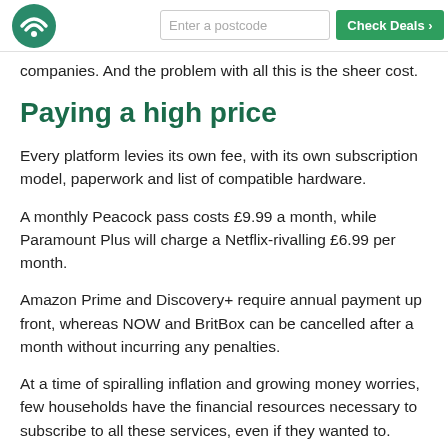Enter a postcode | Check Deals
companies. And the problem with all this is the sheer cost.
Paying a high price
Every platform levies its own fee, with its own subscription model, paperwork and list of compatible hardware.
A monthly Peacock pass costs £9.99 a month, while Paramount Plus will charge a Netflix-rivalling £6.99 per month.
Amazon Prime and Discovery+ require annual payment up front, whereas NOW and BritBox can be cancelled after a month without incurring any penalties.
At a time of spiralling inflation and growing money worries, few households have the financial resources necessary to subscribe to all these services, even if they wanted to.